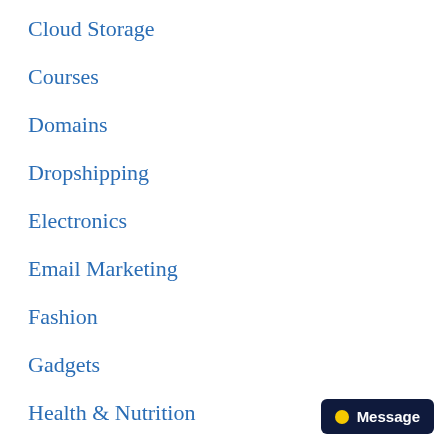Cloud Storage
Courses
Domains
Dropshipping
Electronics
Email Marketing
Fashion
Gadgets
Health & Nutrition
Jewelry
[Figure (other): Message button widget with yellow dot and white text reading 'Message' on dark navy background]